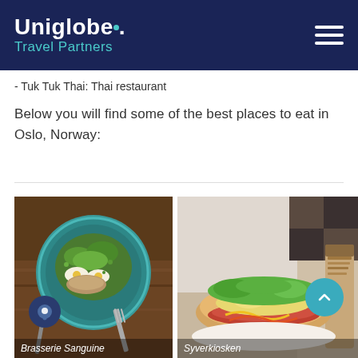Uniglobe. Travel Partners
- Tuk Tuk Thai: Thai restaurant
Below you will find some of the best places to eat in Oslo, Norway:
[Figure (photo): Overhead view of a salad bowl with boiled eggs, greens, and fish on a teal ceramic plate, labeled 'Brasserie Sanguine']
[Figure (photo): Close-up of a hot dog with lettuce and toppings next to a takeaway cup, labeled 'Syverkiosken']